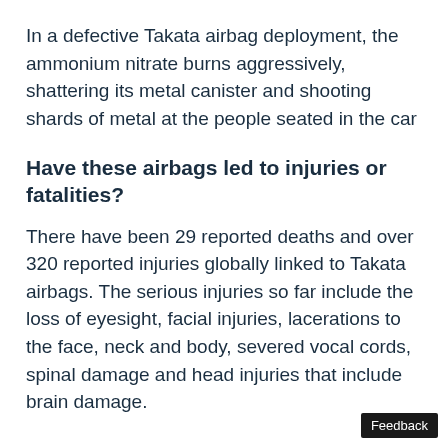In a defective Takata airbag deployment, the ammonium nitrate burns aggressively, shattering its metal canister and shooting shards of metal at the people seated in the car
Have these airbags led to injuries or fatalities?
There have been 29 reported deaths and over 320 reported injuries globally linked to Takata airbags. The serious injuries so far include the loss of eyesight, facial injuries, lacerations to the face, neck and body, severed vocal cords, spinal damage and head injuries that include brain damage.